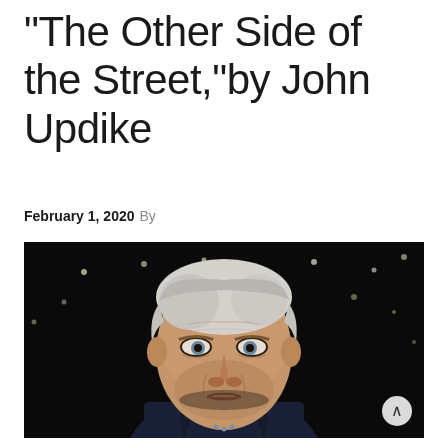“The Other Side of the Street,”by John Updike
February 1, 2020 By
[Figure (photo): Black and white photo of an elderly man with white-gray hair, wearing a dark jacket, looking at the camera with a serious expression. Dark background with scattered lights.]